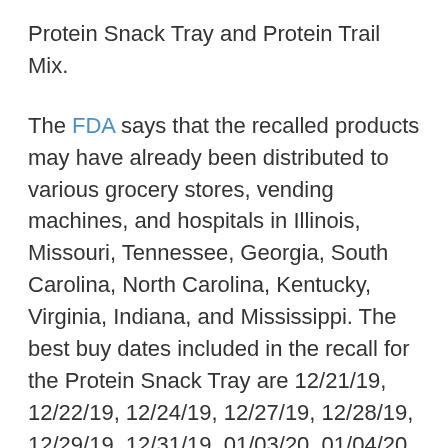Protein Snack Tray and Protein Trail Mix.
The FDA says that the recalled products may have already been distributed to various grocery stores, vending machines, and hospitals in Illinois, Missouri, Tennessee, Georgia, South Carolina, North Carolina, Kentucky, Virginia, Indiana, and Mississippi. The best buy dates included in the recall for the Protein Snack Tray are 12/21/19, 12/22/19, 12/24/19, 12/27/19, 12/28/19, 12/29/19, 12/31/19, 01/03/20, 01/04/20 and 12/23/19, 12/24/19, 12/26/19, 12/29/19, 12/30/19, 12/31/19, 01/02/20, 01/05/20, 01/06/20 for the Protein Trail Mix. The packaging of the concerned products can be viewed here.
The FDA urges anyone in possession of these